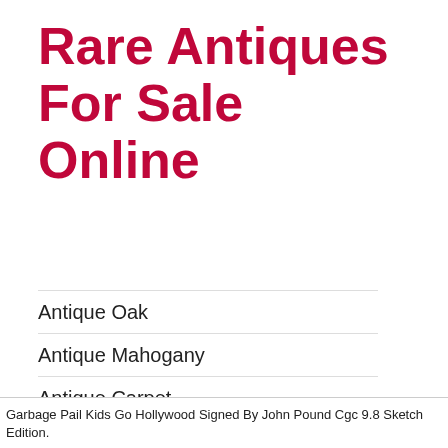Rare Antiques For Sale Online
Antique Oak
Antique Mahogany
Antique Carpet
Antique Painting
Antique Glass
Antique Plate
Garbage Pail Kids Go Hollywood Signed By John Pound Cgc 9.8 Sketch Edition.